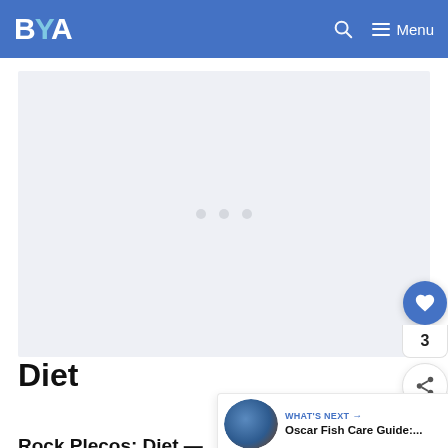BYA — Menu
[Figure (other): Advertisement placeholder area with three light gray dots in the center on a light gray/blue background]
Diet
Rock Plecos: Diet — partial text cut off at bottom